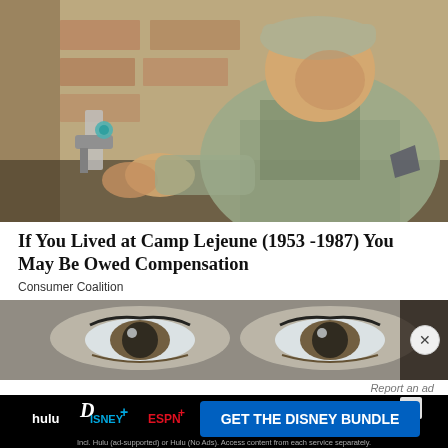[Figure (photo): Military serviceman in camouflage uniform working on a water valve or pipe fitting on a brick wall]
If You Lived at Camp Lejeune (1953 -1987) You May Be Owed Compensation
Consumer Coalition
[Figure (photo): Close-up of a person's eyes]
Report an ad
[Figure (screenshot): Disney Bundle advertisement showing Hulu, Disney+, and ESPN+ logos with text GET THE DISNEY BUNDLE. Incl. Hulu (ad-supported) or Hulu (No Ads). Access content from each service separately. ©2021 Disney and its related entities.]